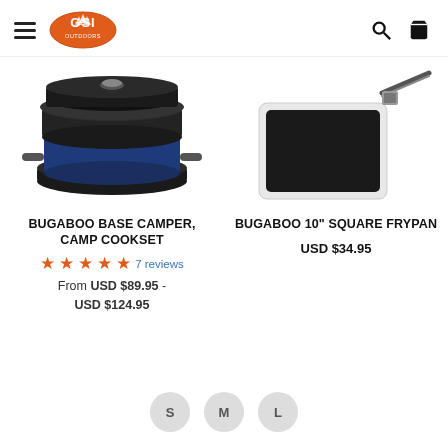GSI Outdoors navigation header with hamburger menu, logo, search and cart icons
[Figure (photo): Bugaboo Base Camper Camp Cookset — stacked blue pots and pans with lids]
[Figure (photo): Bugaboo 10" Square Frypan — white and black square frying pan with long handle]
BUGABOO BASE CAMPER, CAMP COOKSET
BUGABOO 10" SQUARE FRYPAN
USD $34.95
★★★★★ 7 reviews
From USD $89.95 - USD $124.95
S M L